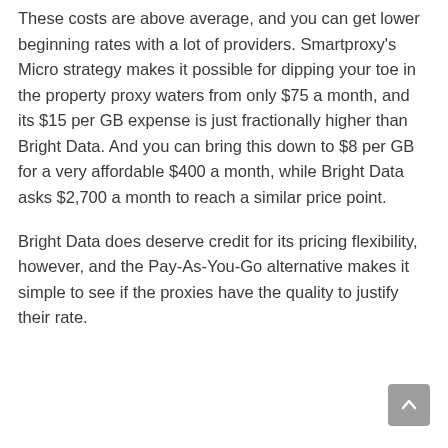These costs are above average, and you can get lower beginning rates with a lot of providers. Smartproxy's Micro strategy makes it possible for dipping your toe in the property proxy waters from only $75 a month, and its $15 per GB expense is just fractionally higher than Bright Data. And you can bring this down to $8 per GB for a very affordable $400 a month, while Bright Data asks $2,700 a month to reach a similar price point.
Bright Data does deserve credit for its pricing flexibility, however, and the Pay-As-You-Go alternative makes it simple to see if the proxies have the quality to justify their rate.